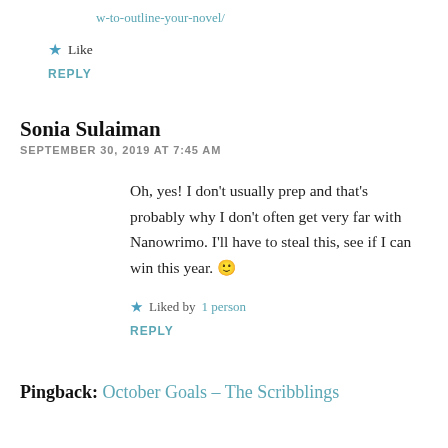w-to-outline-your-novel/
Like
REPLY
Sonia Sulaiman
SEPTEMBER 30, 2019 AT 7:45 AM
Oh, yes! I don't usually prep and that's probably why I don't often get very far with Nanowrimo. I'll have to steal this, see if I can win this year. 🙂
Liked by 1 person
REPLY
Pingback: October Goals – The Scribblings